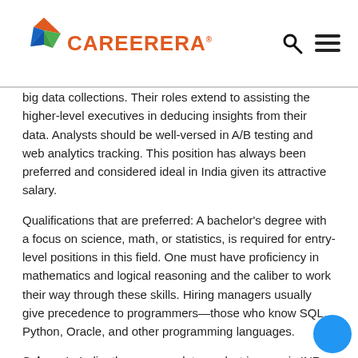CAREERERA
big data collections. Their roles extend to assisting the higher-level executives in deducing insights from their data. Analysts should be well-versed in A/B testing and web analytics tracking. This position has always been preferred and considered ideal in India given its attractive salary.
Qualifications that are preferred: A bachelor's degree with a focus on science, math, or statistics, is required for entry-level positions in this field. One must have proficiency in mathematics and logical reasoning and the caliber to work their way through these skills. Hiring managers usually give precedence to programmers—those who know SQL, Python, Oracle, and other programming languages.
Salary: In India, the average data analyst income is INR 419,465 per year.
Data Scientist
In comparison to a data analyst position, the Data scientist position